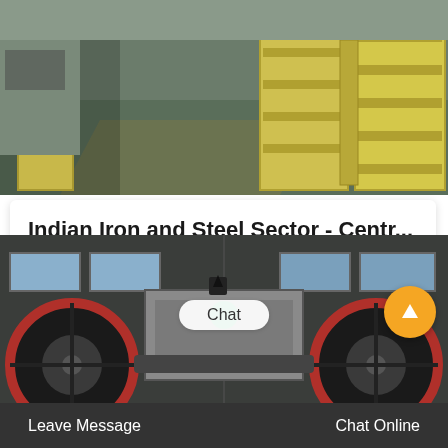[Figure (photo): Industrial warehouse floor with yellow steel rack/crate structures on a grey-green concrete floor]
Indian Iron and Steel Sector - Centr...
Producing one tonne of primary crude steel requires 4 to 5 tonnes of solid raw materials. The raw materials include iron ore (lumps and fines), process coal...
[Figure (photo): Industrial jaw crusher machinery with large black and red flywheels in a factory setting]
Chat
Leave Message	Chat Online